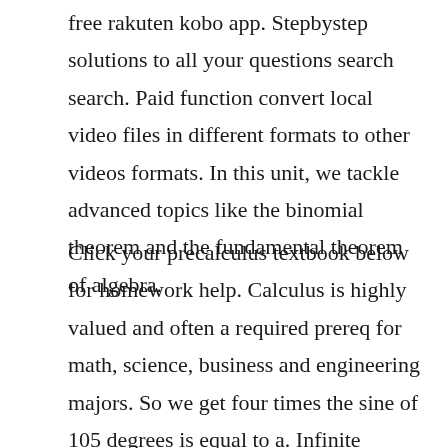free rakuten kobo app. Stepbystep solutions to all your questions search search. Paid function convert local video files in different formats to other videos formats. In this unit, we tackle advanced topics like the binomial theorem and the fundamental theorem of algebra.
Click your precalculus textbook below for homework help. Calculus is highly valued and often a required prereq for math, science, business and engineering majors. So we get four times the sine of 105 degrees is equal to a. Infinite prealgebra infinite algebra 1 infinite